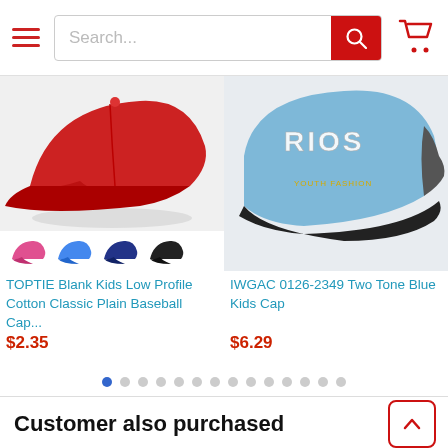[Figure (screenshot): E-commerce website header with hamburger menu, search bar, and cart icon]
[Figure (photo): Red baseball cap product photo with color swatches (pink, blue, navy, black)]
TOPTIE Blank Kids Low Profile Cotton Classic Plain Baseball Cap...
$2.35
[Figure (photo): Light blue kids cap with RIOS text and mesh back, two-tone style]
IWGAC 0126-2349 Two Tone Blue Kids Cap
$6.29
[Figure (other): Pagination dots - 14 dots, first one active/blue]
Customer also purchased
[Figure (photo): White and grey mesh trucker cap thumbnail]
[Figure (photo): Blue mesh trucker cap thumbnail]